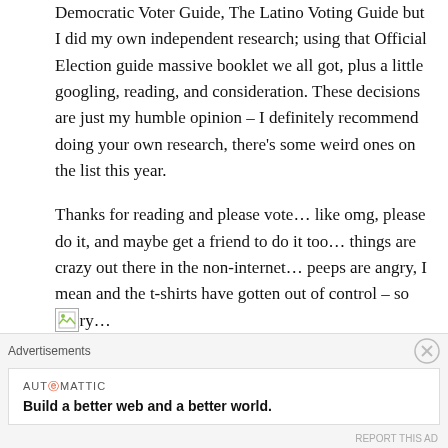Democratic Voter Guide, The Latino Voting Guide but I did my own independent research; using that Official Election guide massive booklet we all got, plus a little googling, reading, and consideration. These decisions are just my humble opinion – I definitely recommend doing your own research, there's some weird ones on the list this year.
Thanks for reading and please vote… like omg, please do it, and maybe get a friend to do it too… things are crazy out there in the non-internet… peeps are angry, I mean and the t-shirts have gotten out of control – so angry…
[Figure (other): Broken image placeholder icon]
President: Hillary Clinton
Advertisements
AUTOMATTIC
Build a better web and a better world.